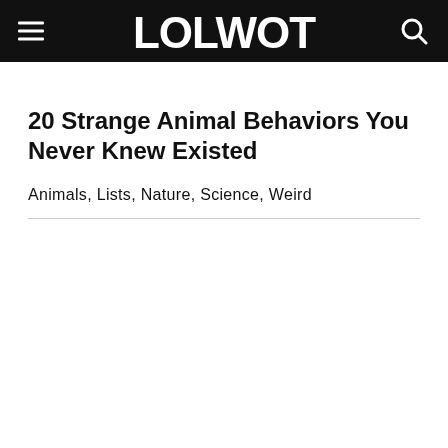LOLWOT
20 Strange Animal Behaviors You Never Knew Existed
Animals, Lists, Nature, Science, Weird